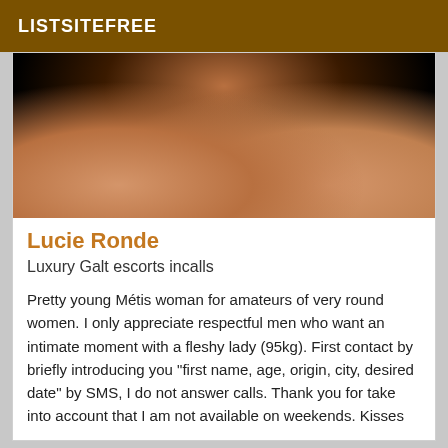LISTSITEFREE
[Figure (photo): Close-up photo showing a person's torso/body in dark lighting]
Lucie Ronde
Luxury Galt escorts incalls
Pretty young Métis woman for amateurs of very round women. I only appreciate respectful men who want an intimate moment with a fleshy lady (95kg). First contact by briefly introducing you "first name, age, origin, city, desired date" by SMS, I do not answer calls. Thank you for take into account that I am not available on weekends. Kisses
[Figure (photo): Bottom card with verified badge and warm brown/tan gradient background]